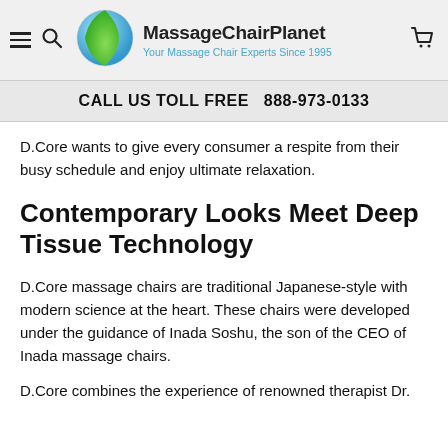MassageChairPlanet — Your Massage Chair Experts Since 1995
CALL US TOLL FREE  888-973-0133
D.Core wants to give every consumer a respite from their busy schedule and enjoy ultimate relaxation.
Contemporary Looks Meet Deep Tissue Technology
D.Core massage chairs are traditional Japanese-style with modern science at the heart. These chairs were developed under the guidance of Inada Soshu, the son of the CEO of Inada massage chairs.
D.Core combines the experience of renowned therapist Dr.